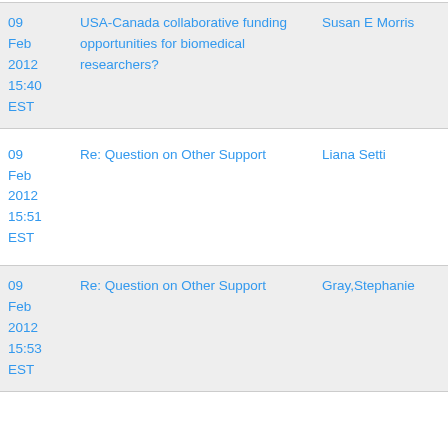| Date | Subject | Author |
| --- | --- | --- |
| 09 Feb 2012 15:40 EST | USA-Canada collaborative funding opportunities for biomedical researchers? | Susan E Morris |
| 09 Feb 2012 15:51 EST | Re: Question on Other Support | Liana Setti |
| 09 Feb 2012 15:53 EST | Re: Question on Other Support | Gray,Stephanie |